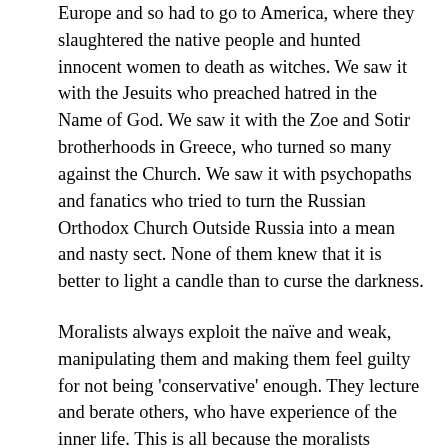Europe and so had to go to America, where they slaughtered the native people and hunted innocent women to death as witches. We saw it with the Jesuits who preached hatred in the Name of God. We saw it with the Zoe and Sotir brotherhoods in Greece, who turned so many against the Church. We saw it with psychopaths and fanatics who tried to turn the Russian Orthodox Church Outside Russia into a mean and nasty sect. None of them knew that it is better to light a candle than to curse the darkness.
Moralists always exploit the naïve and weak, manipulating them and making them feel guilty for not being 'conservative' enough. They lecture and berate others, who have experience of the inner life. This is all because the moralists themselves have no inner life. And because they have no inner life, they pre-judge and condemn all others. And they pre-judge and condemn because they have no compassion and love for human weakness, only hardness of heart which destroys both themselves and others. Moralism is spiritual